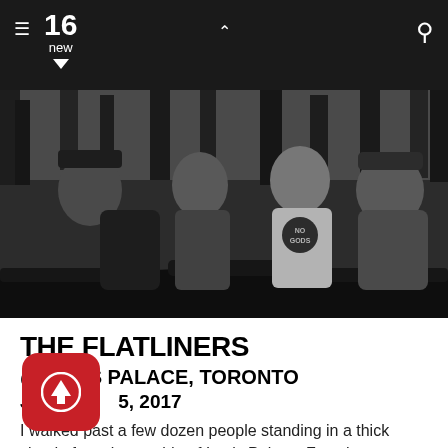16 new
[Figure (photo): Black and white photo of four band members (The Flatliners) seated on a couch in front of a forest backdrop, laughing and relaxed.]
THE FLATLINERS
@ LEE'S PALACE, TORONTO
JUNE 5, 2017
I walked past a few dozen people standing in a thick cloud of smoke outside of Lee's Palace. For whatever reason, The